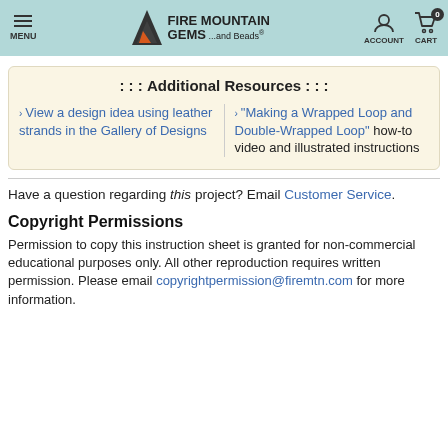MENU | FIRE MOUNTAIN GEMS ...and Beads® | ACCOUNT | CART 0
: : : Additional Resources : : :
View a design idea using leather strands in the Gallery of Designs
"Making a Wrapped Loop and Double-Wrapped Loop" how-to video and illustrated instructions
Have a question regarding this project? Email Customer Service.
Copyright Permissions
Permission to copy this instruction sheet is granted for non-commercial educational purposes only. All other reproduction requires written permission. Please email copyrightpermission@firemtn.com for more information.